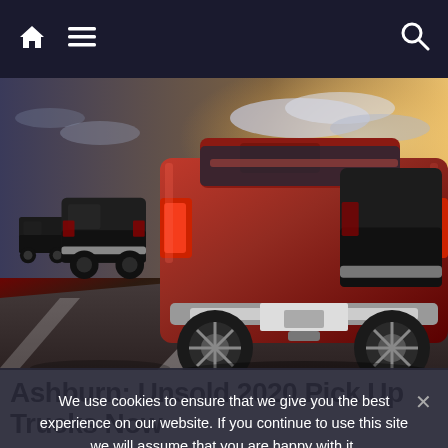Navigation bar with home icon, menu icon, and search icon
[Figure (photo): Row of trucks/SUVs parked at a dealership, rear view, dominated by a large red SUV in the foreground and dark/black trucks behind it. Dramatic sky in background.]
Ashburn: Unsold 2020 Pick Up Trucks Now
We use cookies to ensure that we give you the best experience on our website. If you continue to use this site we will assume that you are happy with it.
Ok